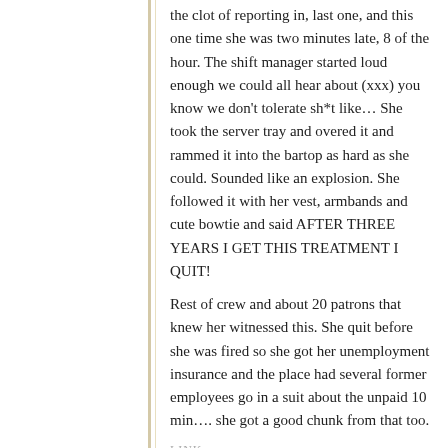the clot of reporting in, last one, and this one time she was two minutes late, 8 of the hour. The shift manager started loud enough we could all hear about (xxx) you know we don't tolerate sh*t like… She took the server tray and overed it and rammed it into the bartop as hard as she could. Sounded like an explosion. She followed it with her vest, armbands and cute bowtie and said AFTER THREE YEARS I GET THIS TREATMENT I QUIT!
Rest of crew and about 20 patrons that knew her witnessed this. She quit before she was fired so she got her unemployment insurance and the place had several former employees go in a suit about the unpaid 10 min…. she got a good chunk from that too.
LINK
sillyme
February 2, 2016, 11:15 am